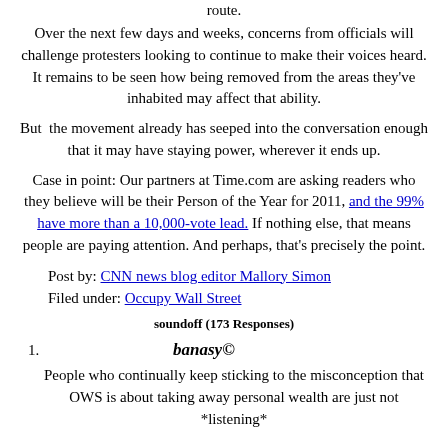route.
Over the next few days and weeks, concerns from officials will challenge protesters looking to continue to make their voices heard. It remains to be seen how being removed from the areas they've inhabited may affect that ability.
But  the movement already has seeped into the conversation enough that it may have staying power, wherever it ends up.
Case in point: Our partners at Time.com are asking readers who they believe will be their Person of the Year for 2011, and the 99% have more than a 10,000-vote lead. If nothing else, that means people are paying attention. And perhaps, that's precisely the point.
Post by: CNN news blog editor Mallory Simon
Filed under: Occupy Wall Street
soundoff (173 Responses)
1.	banasy©
People who continually keep sticking to the misconception that OWS is about taking away personal wealth are just not *listening*